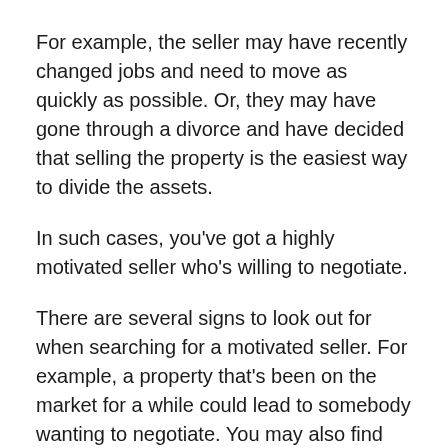For example, the seller may have recently changed jobs and need to move as quickly as possible. Or, they may have gone through a divorce and have decided that selling the property is the easiest way to divide the assets.
In such cases, you've got a highly motivated seller who's willing to negotiate.
There are several signs to look out for when searching for a motivated seller. For example, a property that's been on the market for a while could lead to somebody wanting to negotiate. You may also find that the property's priced to sell. In other words, it's available for less than similar properties in the area.